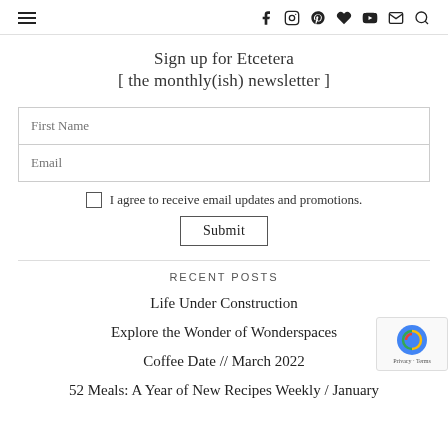≡  f  [instagram]  [pinterest]  [heart]  [youtube]  [mail]  [search]
Sign up for Etcetera
[ the monthly(ish) newsletter ]
First Name
Email
I agree to receive email updates and promotions.
Submit
RECENT POSTS
Life Under Construction
Explore the Wonder of Wonderspaces
Coffee Date // March 2022
52 Meals: A Year of New Recipes Weekly / January